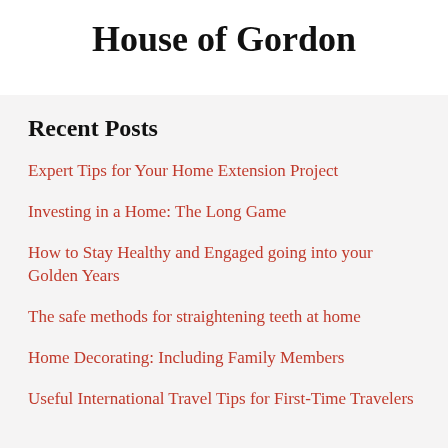House of Gordon
Recent Posts
Expert Tips for Your Home Extension Project
Investing in a Home: The Long Game
How to Stay Healthy and Engaged going into your Golden Years
The safe methods for straightening teeth at home
Home Decorating: Including Family Members
Useful International Travel Tips for First-Time Travelers